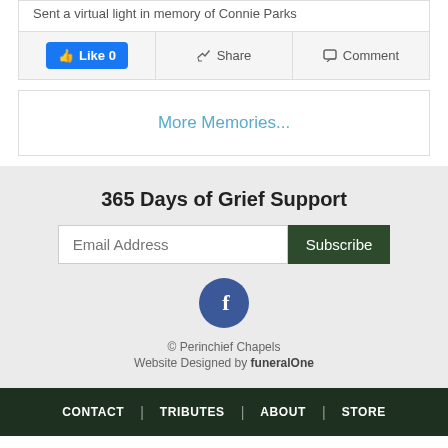Sent a virtual light in memory of Connie Parks
Like 0 | Share | Comment
More Memories...
365 Days of Grief Support
Email Address [Subscribe]
[Figure (logo): Facebook logo circle button]
© Perinchief Chapels
Website Designed by funeralOne
CONTACT | TRIBUTES | ABOUT | STORE